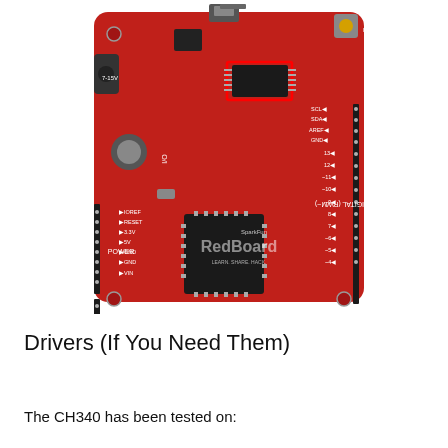[Figure (photo): Photo of a SparkFun RedBoard microcontroller development board (red PCB). The board shows labels including POWER, ANALOG IN, DIGITAL (PWM), pin numbers 0-13, RESET button, USB connector, 7-15V barrel jack, SCL, SDA, AREF, GND, IOREF, and a Qwiic connector. The CH340 USB-to-serial chip is highlighted with a red rectangle outline.]
Drivers (If You Need Them)
The CH340 has been tested on: